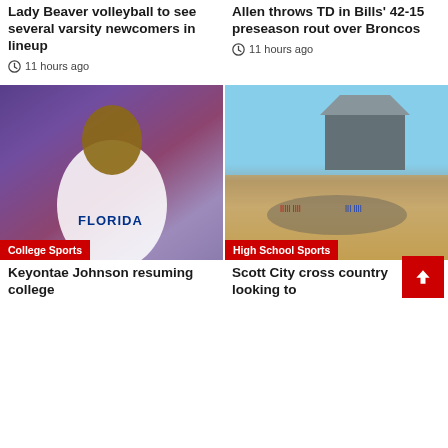Lady Beaver volleyball to see several varsity newcomers in lineup
11 hours ago
Allen throws TD in Bills' 42-15 preseason rout over Broncos
11 hours ago
[Figure (photo): Florida Gators basketball player Keyontae Johnson in uniform with crowd in background]
College Sports
[Figure (photo): Group of cross country runners at the start of a race near a building]
High School Sports
Keyontae Johnson resuming college
Scott City cross country looking to